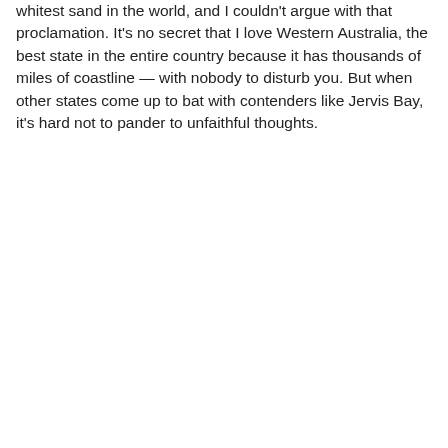whitest sand in the world, and I couldn't argue with that proclamation. It's no secret that I love Western Australia, the best state in the entire country because it has thousands of miles of coastline — with nobody to disturb you. But when other states come up to bat with contenders like Jervis Bay, it's hard not to pander to unfaithful thoughts.